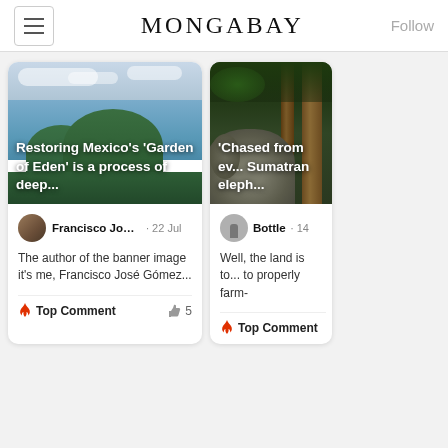MONGABAY  Follow
[Figure (photo): Aerial view of a volcanic lake landscape with green forest and water, with overlaid text: Restoring Mexico's 'Garden of Eden' is a process of deep...]
Francisco José G...  · 22 Jul
The author of the banner image it's me, Francisco José Gómez...
🔥 Top Comment  👍 5
[Figure (photo): Sumatran elephants in dense forest, with overlaid text: 'Chased from ev... Sumatran eleph...]
Bottle · 14
Well, the land is to... to properly farm-
🔥 Top Comment